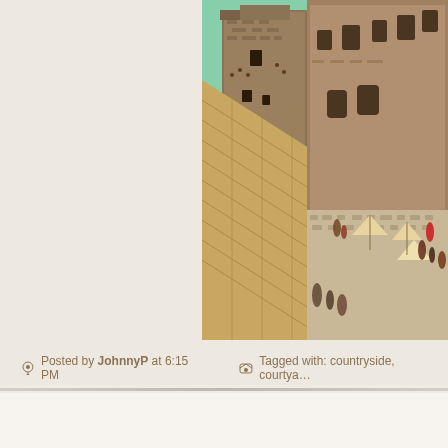[Figure (photo): Aerial/elevated view of a medieval Italian castle courtyard with stone tower, tiled rooftops, and a cobblestone piazza with people and market umbrellas visible]
Posted by JohnnyP at 6:15 PM
Tagged with: countryside, courtya...
Castello di Montegufoni, Tuscany, It...
May 10 2014